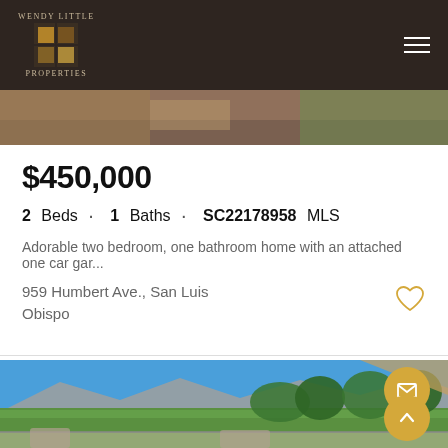Wendy Little Properties
[Figure (photo): Top photo strip showing outdoor scene]
$450,000
2 Beds · 1 Baths · SC22178958 MLS
Adorable two bedroom, one bathroom home with an attached one car gar...
959 Humbert Ave., San Luis Obispo
[Figure (photo): Outdoor patio/deck photo with mountain and green landscape view, two floating action buttons (email envelope and up arrow) overlaid in gold/yellow circles]